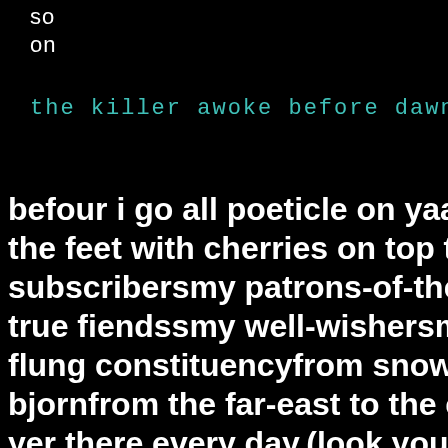so
on
the killer awoke before dawn...
befour i go all poeticle on yaa huge the feet with cherries on top thank subscribersmy patrons-of-the-blo true fiendssmy well-wishersmy flo flung constituencyfrom snowy ca bjornfrom the far-east to the east yer there every day.(look your ow me moore moor?damo in purtha sanfrangarratt....nah he always g mention..eekly..did a iridescent p niteindigorooby...such a nice one picture you...all swirly you areper